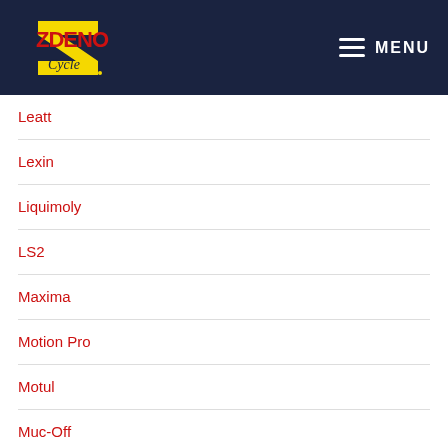Zdeno Cycle — MENU
Leatt
Lexin
Liquimoly
LS2
Maxima
Motion Pro
Motul
Muc-Off